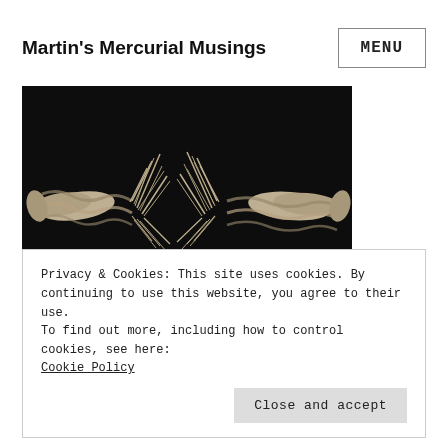Martin's Mercurial Musings
MENU
[Figure (photo): A frayed and broken rope photographed against a black background, showing the two ends of the rope pulled apart with fibers unraveling in the center.]
Privacy & Cookies: This site uses cookies. By continuing to use this website, you agree to their use.
To find out more, including how to control cookies, see here: Cookie Policy
Close and accept